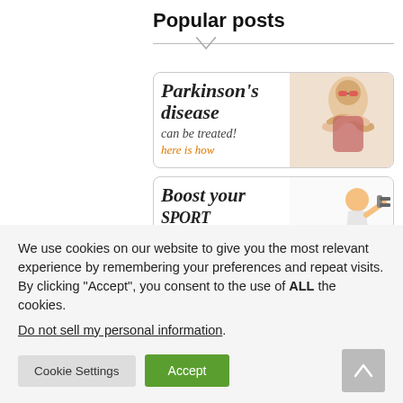Popular posts
[Figure (illustration): Advertisement banner: Parkinson's disease can be treated! here is how — with image of cheerful elderly woman in sunglasses]
[Figure (illustration): Advertisement banner: Boost your SPORT PERFORMANCE! — with illustration of muscular man lifting dumbbells]
We use cookies on our website to give you the most relevant experience by remembering your preferences and repeat visits. By clicking “Accept”, you consent to the use of ALL the cookies.
Do not sell my personal information.